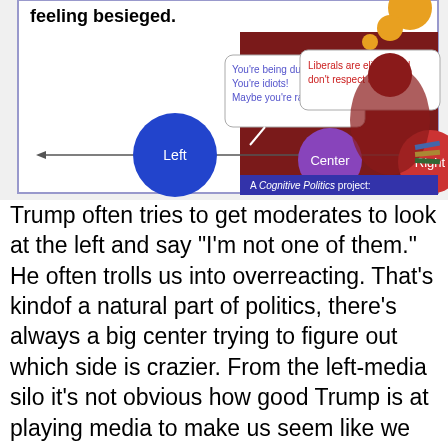[Figure (infographic): A Cognitive Politics project infographic showing political spectrum with Left (blue circle), Center (purple circle), Right (red circle partially visible). Speech bubbles show 'You're being duped! You're idiots! Maybe you're racist!' from the left side, and 'Liberals are elitists and don't respect any of us.' from the right side. Header text reads 'feeling besieged.' Background shows a figure in dark red. Orange thought bubble visible at top right.]
Trump often tries to get moderates to look at the left and say "I'm not one of them." He often trolls us into overreacting. That's kindof a natural part of politics, there's always a big center trying to figure out which side is crazier. From the left-media silo it's not obvious how good Trump is at playing media to make us seem like we are vicious and he merely speaks his mind, but he's good at that.